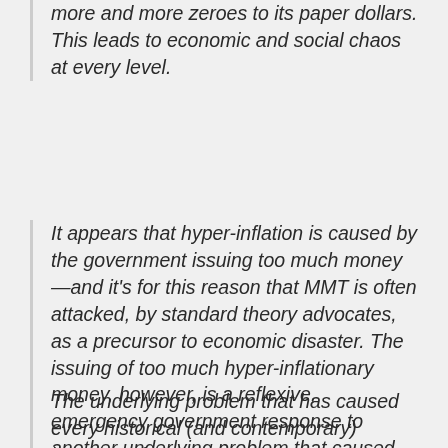more and more zeroes to its paper dollars. This leads to economic and social chaos at every level.
It appears that hyper-inflation is caused by the government issuing too much money—and it's for this reason that MMT is often attacked, by standard theory advocates, as a precursor to economic disaster. The issuing of too much hyper-inflationary money, however, is a reflexive, emergency government response to another underlying problem that caused the hyper-inflation to get started in the first place. To say that “printing money” causes hyper-inflation is like saying “flames” cause a fire.
The underlying problem that has caused every historical (and contemporary) instance of